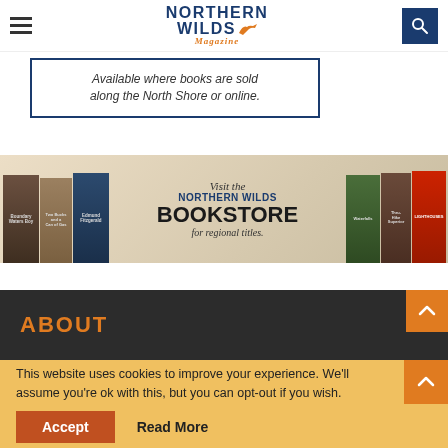Northern Wilds Magazine
[Figure (other): Northern Wilds Magazine logo with fox icon]
Available where books are sold along the North Shore or online.
[Figure (illustration): Northern Wilds Bookstore banner advertisement with regional book covers. Text reads: Visit the Northern Wilds BOOKSTORE for regional titles.]
ABOUT
This website uses cookies to improve your experience. We'll assume you're ok with this, but you can opt-out if you wish.
Accept
Read More